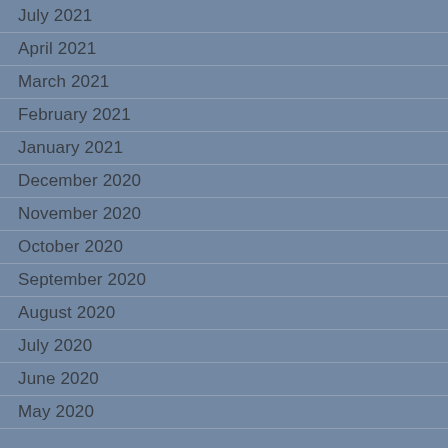July 2021
April 2021
March 2021
February 2021
January 2021
December 2020
November 2020
October 2020
September 2020
August 2020
July 2020
June 2020
May 2020